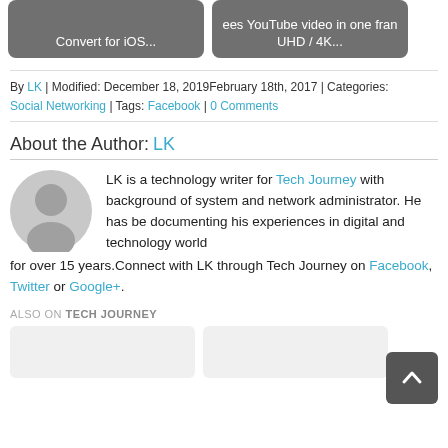[Figure (screenshot): Two gray button thumbnails: 'Convert for iOS...' on the left and 'ees YouTube video in one fran UHD / 4K...' on the right]
By LK | Modified: December 18, 2019February 18th, 2017 | Categories: Social Networking | Tags: Facebook | 0 Comments
About the Author: LK
[Figure (illustration): Gray circular avatar/profile placeholder icon]
LK is a technology writer for Tech Journey with background of system and network administrator. He has be documenting his experiences in digital and technology world for over 15 years.Connect with LK through Tech Journey on Facebook, Twitter or Google+.
ALSO ON TECH JOURNEY
[Figure (screenshot): Two gray card placeholders for 'Also on Tech Journey' section]
[Figure (other): Back to top button with upward chevron arrow, dark gray]